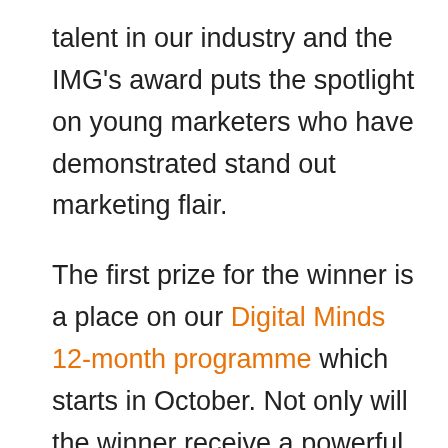talent in our industry and the IMG's award puts the spotlight on young marketers who have demonstrated stand out marketing flair.

The first prize for the winner is a place on our Digital Minds 12-month programme which starts in October. Not only will the winner receive a powerful mix of innovation, business digitally-focused skills from experienced industry experts,